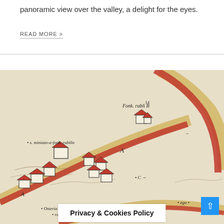panoramic view over the valley, a delight for the eyes.
READ MORE >
[Figure (map): Historical hand-drawn map showing roads labeled A, B, C, settlement 'S. miniato a fonteruboli', building labeled 'Fonteruboli B', 'Osteria di fonte rubilis', and 'ego'. Roads rendered in red, buildings illustrated as small sketched houses on a parchment-colored background.]
Privacy & Cookies Policy